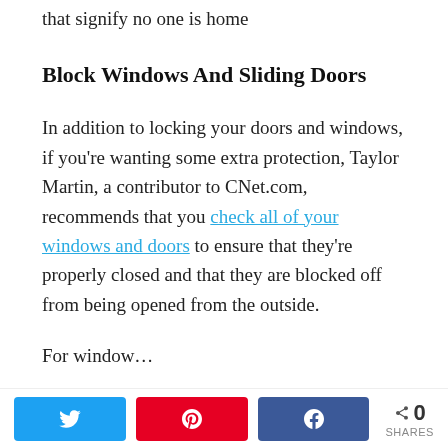that signify no one is home
Block Windows And Sliding Doors
In addition to locking your doors and windows, if you're wanting some extra protection, Taylor Martin, a contributor to CNet.com, recommends that you check all of your windows and doors to ensure that they're properly closed and that they are blocked off from being opened from the outside.
For window…
Share buttons: Twitter, Pinterest, Facebook | 0 SHARES